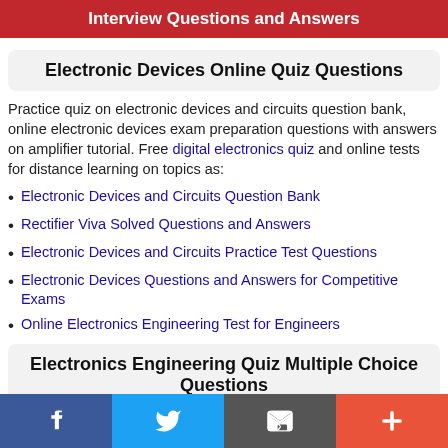Interview Questions and Answers
Electronic Devices Online Quiz Questions
Practice quiz on electronic devices and circuits question bank, online electronic devices exam preparation questions with answers on amplifier tutorial. Free digital electronics quiz and online tests for distance learning on topics as:
Electronic Devices and Circuits Question Bank
Rectifier Viva Solved Questions and Answers
Electronic Devices and Circuits Practice Test Questions
Electronic Devices Questions and Answers for Competitive Exams
Online Electronics Engineering Test for Engineers
Electronics Engineering Quiz Multiple Choice Questions
f  Twitter  Email  +